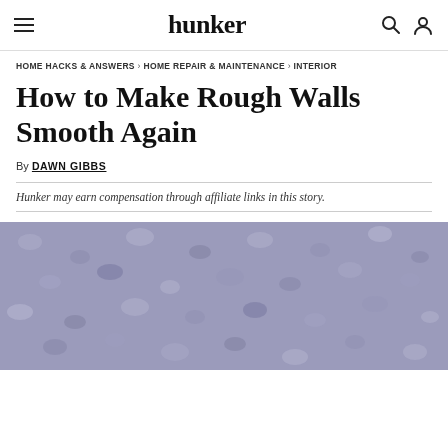hunker
HOME HACKS & ANSWERS > HOME REPAIR & MAINTENANCE > INTERIOR
How to Make Rough Walls Smooth Again
By DAWN GIBBS
Hunker may earn compensation through affiliate links in this story.
[Figure (photo): Close-up photo of a rough, textured wall surface with bumpy plaster finish in muted purple-gray tones]